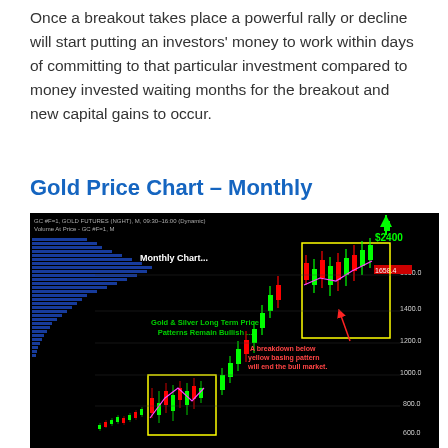Once a breakout takes place a powerful rally or decline will start putting an investors' money to work within days of committing to that particular investment compared to money invested waiting months for the breakout and new capital gains to occur.
Gold Price Chart – Monthly
[Figure (continuous-plot): Monthly Gold Futures (GC #F=1) candlestick chart on black background showing price from approximately 600 to 2400. Features blue horizontal volume bars on the left, green and red candlesticks showing a long-term uptrend, two yellow rectangle basing patterns highlighted, magenta trend lines, and green text annotation 'Gold & Silver Long Term Price Patterns Remain Bullish...'. Red arrow pointing down with text 'A breakdown below yellow basing pattern will end the bull market.' Price label $2400 in green at top right, levels 1658.4, 1500.0, 1400.0, 1200.0, 1000.0, 800.0, 600.0 on right axis. Header: GC #F=1, GOLD FUTURES (NGHT), M, 09:30-16:00 (Dynamic) / Volume At Price - GC #F=1, M.]